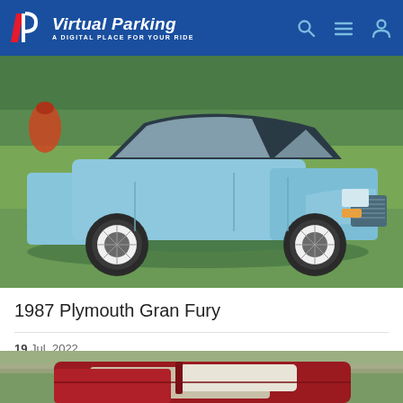Virtual Parking — A DIGITAL PLACE FOR YOUR RIDE
[Figure (photo): 1987 Plymouth Gran Fury light blue sedan parked on grass, front three-quarter view]
1987 Plymouth Gran Fury
19 Jul, 2022
[Figure (photo): Partially visible red convertible car, top-down view from above]